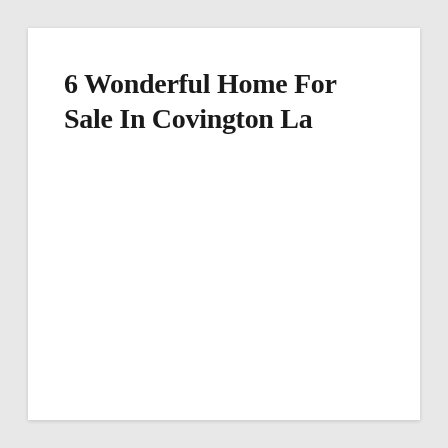6 Wonderful Home For Sale In Covington La